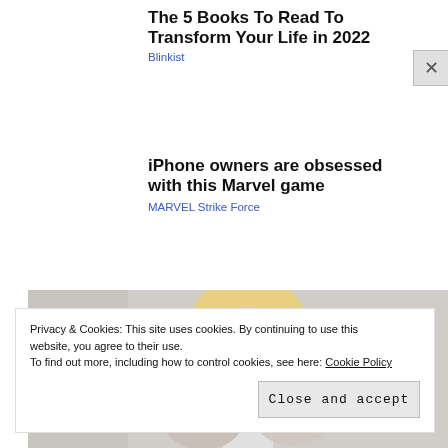The 5 Books To Read To Transform Your Life in 2022
Blinkist
iPhone owners are obsessed with this Marvel game
MARVEL Strike Force
[Figure (photo): Woman with blonde hair looking down, indoors with plants in background]
Privacy & Cookies: This site uses cookies. By continuing to use this website, you agree to their use.
To find out more, including how to control cookies, see here: Cookie Policy
Close and accept